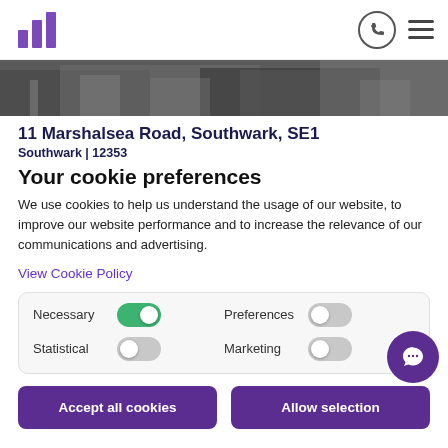11 (logo) | phone icon | hamburger menu
[Figure (photo): Hero strip showing a street scene with buildings and vehicles]
11 Marshalsea Road, Southwark, SE1
Southwark | 12353
Your cookie preferences
We use cookies to help us understand the usage of our website, to improve our website performance and to increase the relevance of our communications and advertising.
View Cookie Policy
Necessary | toggle on | Preferences | toggle off | Statistical | toggle off | Marketing | toggle off
Accept all cookies
Allow selection